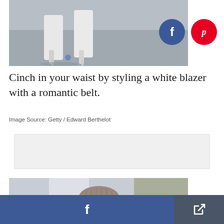[Figure (photo): Street style photo showing white heeled ankle boots on pavement, with Facebook and Pinterest share buttons overlaid]
Cinch in your waist by styling a white blazer with a romantic belt.
Image Source: Getty / Edward Berthelot
[Figure (photo): Advertisement placeholder block]
[Figure (photo): Street style photo showing a person wearing a tweed bucket hat with a badge/patch]
Facebook share button and general share button